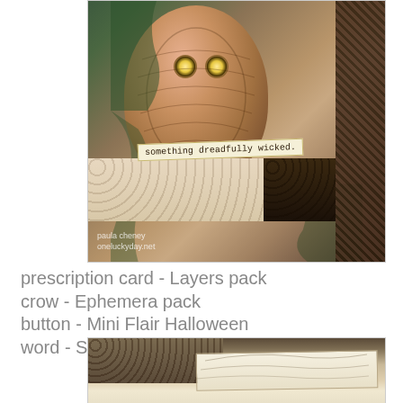[Figure (photo): A craft/scrapbook composition featuring a vintage owl illustration card with text reading 'something dreadfully wicked.', layered with decorative lace and dark embossed paper. Attribution text reads 'paula cheney oneluckyday.net']
prescription card - Layers pack
crow - Ephemera pack
button - Mini Flair Halloween
word - Sticker Book
[Figure (photo): Close-up of decorative lace and cream/off-white layered paper pieces with dark embossed texture]